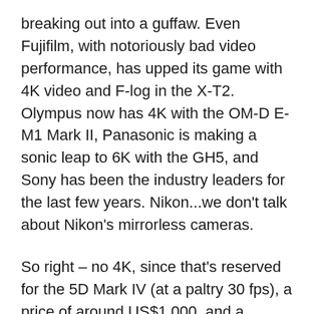breaking out into a guffaw. Even Fujifilm, with notoriously bad video performance, has upped its game with 4K video and F-log in the X-T2. Olympus now has 4K with the OM-D E-M1 Mark II, Panasonic is making a sonic leap to 6K with the GH5, and Sony has been the industry leaders for the last few years. Nikon...we don't talk about Nikon's mirrorless cameras.
So right – no 4K, since that's reserved for the 5D Mark IV (at a paltry 30 fps), a price of around US$1,000, and a severe lack of lenses (using an EF to EF-M adapter doesn't truly count). What's the big deal?
But when we got to the Canon booth at Photokina